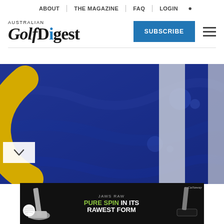ABOUT | THE MAGAZINE | FAQ | LOGIN
[Figure (logo): Australian Golf Digest logo with blue dot on letter i]
SUBSCRIBE
[Figure (photo): Close-up photo of a blue fabric/banner with a golden letter C and white stripes, possibly a Callaway golf branded display]
[Figure (photo): Callaway Jaws Raw advertisement banner: golf iron images on left and right, text 'JAWS RAW' and 'PURE SPIN IN ITS RAWEST FORM' in center]